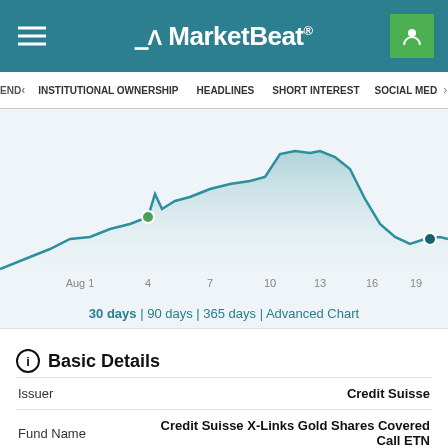MarketBeat
INSTITUTIONAL OWNERSHIP | HEADLINES | SHORT INTEREST | SOCIAL MEDIA
[Figure (line-chart): Line chart showing price movement from Aug 1 to ~Aug 21 with a teal filled area chart. Points marked at Aug 4 (local peak), continues up to peak around Aug 13-14, then declines. Two highlighted dots: one green around Aug 4, one dark teal around Aug 20-21.]
30 days | 90 days | 365 days | Advanced Chart
Basic Details
|  |  |
| --- | --- |
| Issuer | Credit Suisse |
| Fund Name | Credit Suisse X-Links Gold Shares Covered Call ETN |
| Tax Classification | Exchange-Traded Note |